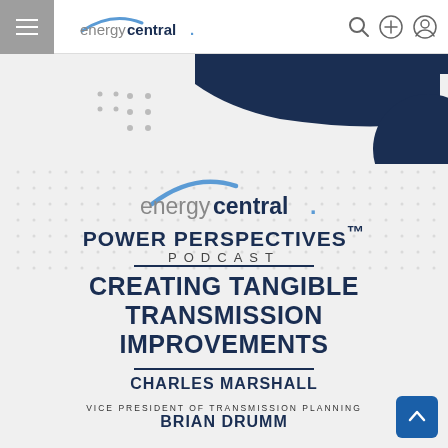energycentral.
[Figure (illustration): Energy Central podcast cover art with dark navy banner shape and dot grid pattern background]
[Figure (logo): Energy Central logo - large centered version with arc above text]
POWER PERSPECTIVES™ PODCAST
CREATING TANGIBLE TRANSMISSION IMPROVEMENTS
CHARLES MARSHALL
VICE PRESIDENT OF TRANSMISSION PLANNING
BRIAN DRUMM